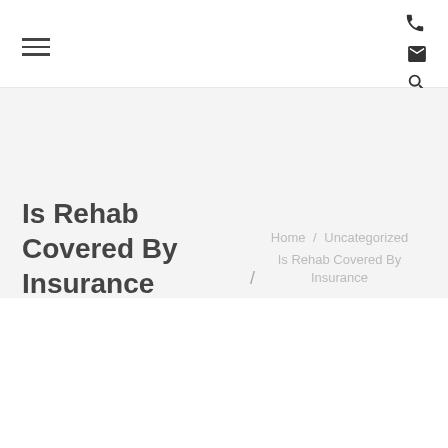≡  ☎ ✉ 🔍
Is Rehab Covered By Insurance
Home / Uncategorized / Is Rehab Covered By Insurance